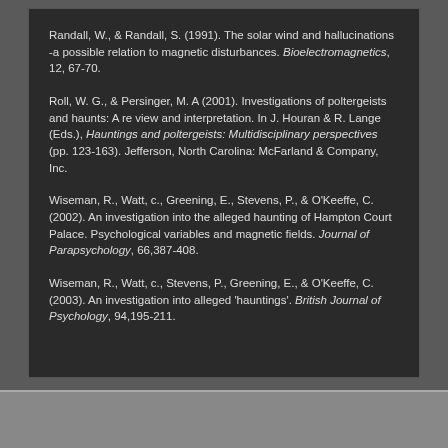Randall, W., & Randall, S. (1991). The solar wind and hallucinations -a possible relation to magnetic disturbances. Bioelectromagnetics, 12, 67-70.
Roll, W. G., & Persinger, M. A (2001). Investigations of poltergeists and haunts: A re view and interpretation. In J. Houran & R. Lange (Eds.), Hauntings and poltergeists: Multidisciplinary perspectives (pp. 123-163). Jefferson, North Carolina: McFarland & Company, Inc.
Wiseman, R., Watt, c., Greening, E., Stevens, P., & O'Keeffe, C. (2002). An investigation into the alleged haunting of Hampton Court Palace. Psychological variables and magnetic fields. Journal of Parapsychology, 66,387-408.
Wiseman, R., Watt, c., Stevens, P., Greening, E., & O'Keeffe, C. (2003). An investigation into alleged 'hauntings'. British Journal of Psychology, 94,195-211.